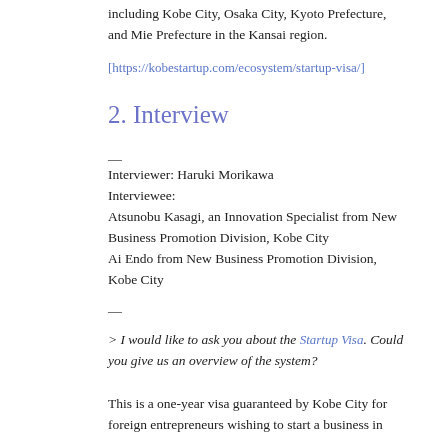including Kobe City, Osaka City, Kyoto Prefecture, and Mie Prefecture in the Kansai region.
https://kobestartup.com/ecosystem/startup-visa/
2. Interview
—
Interviewer: Haruki Morikawa
Interviewee:
Atsunobu Kasagi, an Innovation Specialist from New Business Promotion Division, Kobe City
Ai Endo from New Business Promotion Division, Kobe City
—
> I would like to ask you about the Startup Visa. Could you give us an overview of the system?
This is a one-year visa guaranteed by Kobe City for foreign entrepreneurs wishing to start a business in